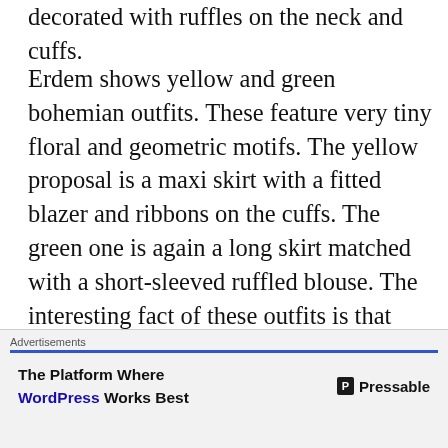decorated with ruffles on the neck and cuffs.
Erdem shows yellow and green bohemian outfits. These feature very tiny floral and geometric motifs. The yellow proposal is a maxi skirt with a fitted blazer and ribbons on the cuffs. The green one is again a long skirt matched with a short-sleeved ruffled blouse. The interesting fact of these outfits is that they look like dresses if seen from far away.
For print lovers, this is definitely the right
[Figure (other): Advertisement banner: 'Advertisements' label with blue underline, showing 'The Platform Where WordPress Works Best' with Pressable logo]